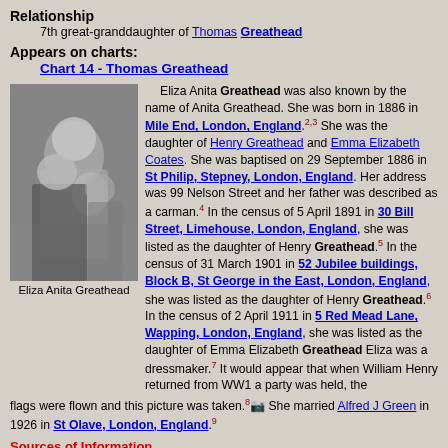Relationship
7th great-granddaughter of Thomas Greathead
Appears on charts:
Chart 14 - Thomas Greathead
[Figure (photo): Black and white photograph of Eliza Anita Greathead]
Eliza Anita Greathead
Eliza Anita Greathead was also known by the name of Anita Greathead. She was born in 1886 in Mile End, London, England. She was the daughter of Henry Greathead and Emma Elizabeth Coates. She was baptised on 29 September 1886 in St Philip, Stepney, London, England. Her address was 99 Nelson Street and her father was described as a carman. In the census of 5 April 1891 in 30 Bill Street, Limehouse, London, England, she was listed as the daughter of Henry Greathead. In the census of 31 March 1901 in 52 Jubilee buildings, Block B, St George in the East, London, England, she was listed as the daughter of Henry Greathead. In the census of 2 April 1911 in 5 Red Mead Lane, Wapping, London, England, she was listed as the daughter of Emma Elizabeth Greathead Eliza was a dressmaker. It would appear that when William Henry returned from WW1 a party was held, the flags were flown and this picture was taken. She married Alfred J Green in 1926 in St Olave, London, England.
Sources of Information